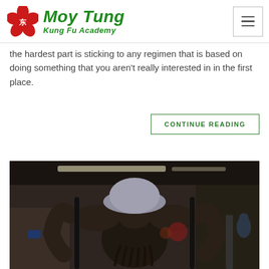Moy Tung Kung Fu Academy
the hardest part is sticking to any regimen that is based on doing something that you aren’t really interested in in the first place.
CONTINUE READING
[Figure (photo): A muscular person doing pull-ups or parallel bar exercise in a gym, seen from below, wearing a light-colored cap, with dreadlocks hanging down. Dark gym background with lights visible.]